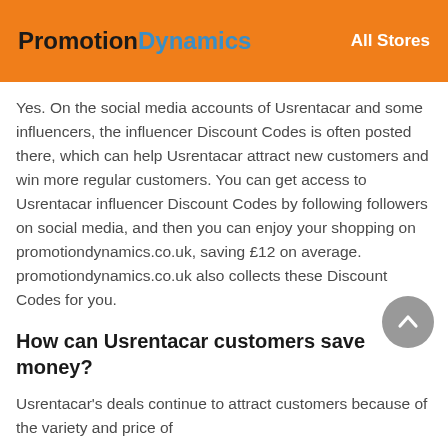PromotionDynamics  All Stores
Yes. On the social media accounts of Usrentacar and some influencers, the influencer Discount Codes is often posted there, which can help Usrentacar attract new customers and win more regular customers. You can get access to Usrentacar influencer Discount Codes by following followers on social media, and then you can enjoy your shopping on promotiondynamics.co.uk, saving £12 on average. promotiondynamics.co.uk also collects these Discount Codes for you.
How can Usrentacar customers save money?
Usrentacar's deals continue to attract customers because of the variety and price of